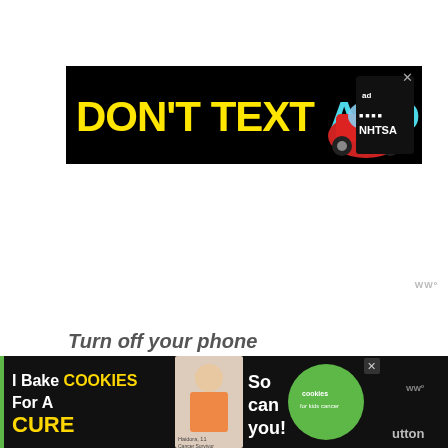[Figure (infographic): NHTSA advertisement banner: black background with yellow text 'DON'T TEXT' and cyan text 'AND' followed by a red car emoji, with the Ad Council and NHTSA logos on the right. An X close button in the top right corner.]
WWº
Turn off your phone
[Figure (infographic): Bottom advertisement banner: black background with 'I Bake COOKIES For A CURE' text, photo of a child named Haidora age 11 Cancer Survivor, 'So can you!' text, green cookies for kids cancer logo, and a close X button.]
WWº
utton